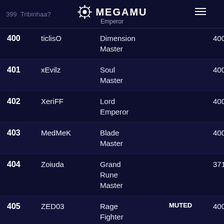399  Tribinhaa?  MEGAMU Emperor
| # | Name | Class | Badge | Score |
| --- | --- | --- | --- | --- |
| 400 | ticlisO | Dimension Master |  | 400- |
| 401 | xEvilz | Soul Master |  | 400- |
| 402 | XeriFF | Lord Emperor |  | 400- |
| 403 | MedMeK | Blade Master |  | 400- |
| 404 | Zoiuda | Grand Rune Master |  | 371- |
| 405 | ZED03 | Rage Fighter | MUTED | 400- |
| 406 | ZrveenSL | Master |  | 1+1 |